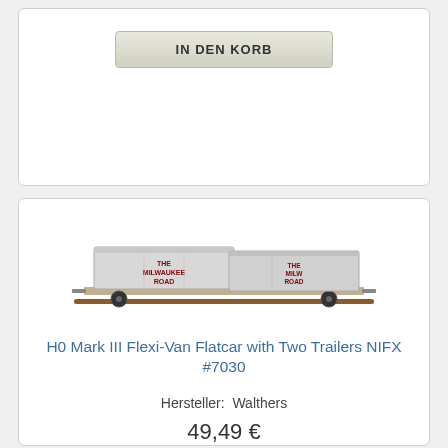IN DEN KORB
[Figure (photo): Model train flatcar with two trailers labeled THE MILWAUKEE ROAD, white/grey trailers on a flatcar with wheels]
H0 Mark III Flexi-Van Flatcar with Two Trailers NIFX #7030
Hersteller: Walthers
49,49 €